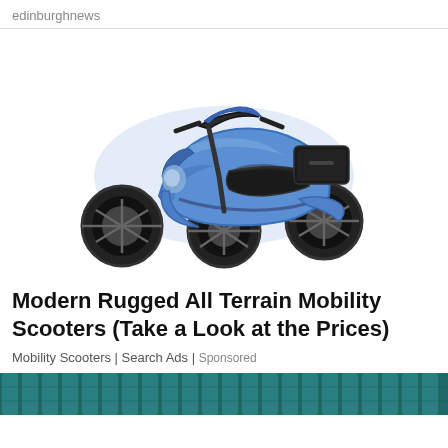edinburghnews
[Figure (photo): Blue three-wheeled rugged mobility scooter with black seat and top box cargo carrier, photographed against white background]
Modern Rugged All Terrain Mobility Scooters (Take a Look at the Prices)
Mobility Scooters | Search Ads | Sponsored
[Figure (photo): Bottom partial image showing teal/green tinted architectural or grid pattern]